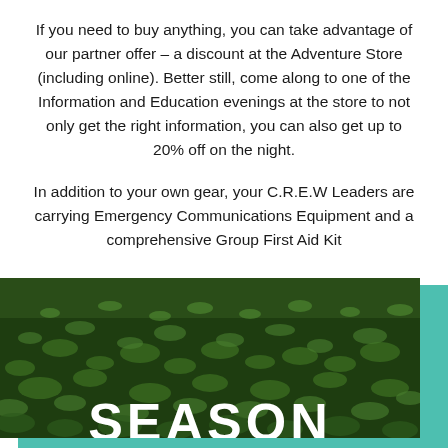If you need to buy anything, you can take advantage of our partner offer – a discount at the Adventure Store (including online). Better still, come along to one of the Information and Education evenings at the store to not only get the right information, you can also get up to 20% off on the night.
In addition to your own gear, your C.R.E.W Leaders are carrying Emergency Communications Equipment and a comprehensive Group First Aid Kit
[Figure (photo): A close-up photo of green grass/moss from above, with a teal/mint green decorative bar offset behind it. Partial large white bold text visible at the bottom edge.]